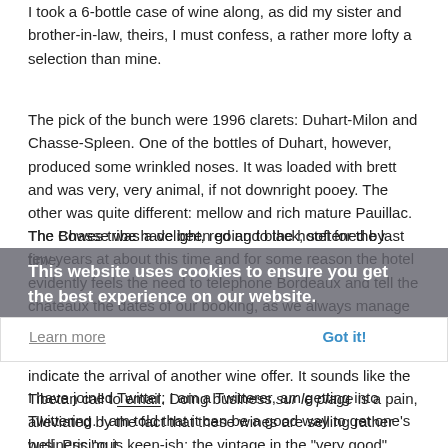I took a 6-bottle case of wine along, as did my sister and brother-in-law, theirs, I must confess, a rather more lofty a selection than mine.
The pick of the bunch were 1996 clarets: Duhart-Milon and Chasse-Spleen. One of the bottles of Duhart, however, produced some wrinkled noses. It was loaded with brett and was very, very animal, if not downright pooey. The other was quite different: mellow and rich mature Pauillac. The Chasse was a delight, red and black, softened by time.
The Bowes tribe have been going to the hotel for the last few years at about this time and for some reason the hotel evidently feels the need to telephone Bordeaux and tell the châteaux the dates of our booking, as we always manage to hit the middle of the en primeur campaign slap bang. The Blackberry fills the air with its incessant gonging to indicate the arrival of another wine offer. It sounds like the Tibetan call to email. Doing business sur le plage is a pain, alleviated by the fact that these wines are selling rather well. Pricing is keen-ish; the vintage in the "very good" class. One is almost tempted to ask "recession?"
I have joined Twitter; I am a Twitterer, am getting into Twittering. I am told that it can be a good way to get one's business "out